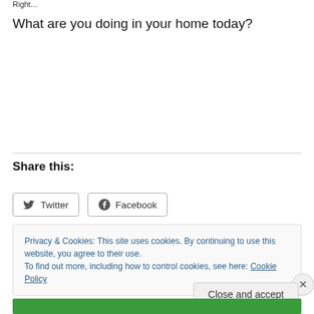Right...
What are you doing in your home today?
Share this:
Privacy & Cookies: This site uses cookies. By continuing to use this website, you agree to their use.
To find out more, including how to control cookies, see here: Cookie Policy
Close and accept